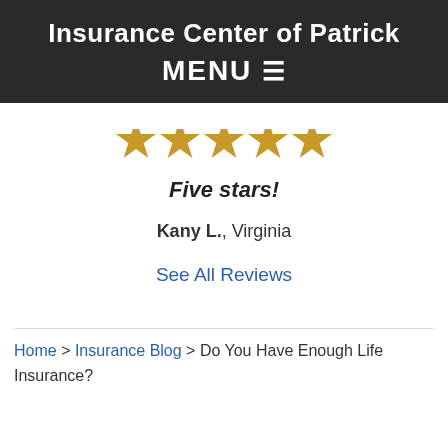Insurance Center of Patrick
MENU ☰
[Figure (other): Five gold star rating icons partially visible at top]
Five stars!
Kany L., Virginia
See All Reviews
Home > Insurance Blog > Do You Have Enough Life Insurance?